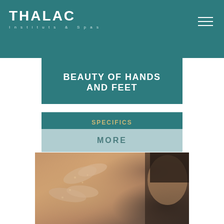THALAC Institute & Spas
BEAUTY OF HANDS AND FEET
SPECIFICS
MORE
[Figure (photo): Spa treatment showing hands massaging a person's back with exfoliating scrub, person with dark hair resting face down]